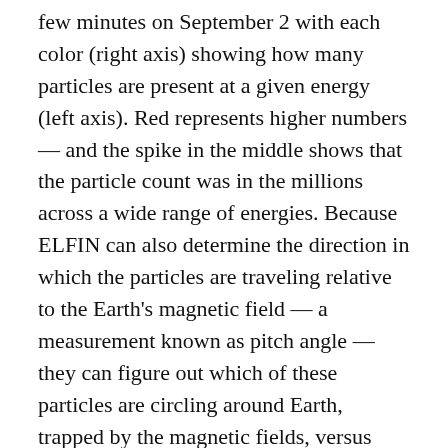few minutes on September 2 with each color (right axis) showing how many particles are present at a given energy (left axis). Red represents higher numbers — and the spike in the middle shows that the particle count was in the millions across a wide range of energies. Because ELFIN can also determine the direction in which the particles are traveling relative to the Earth's magnetic field — a measurement known as pitch angle — they can figure out which of these particles are circling around Earth, trapped by the magnetic fields, versus those that are raining down out of the belts toward our planet. ELFIN is the first satellite to quickly survey the whole latitudinal range of the radiation belts with this capability —